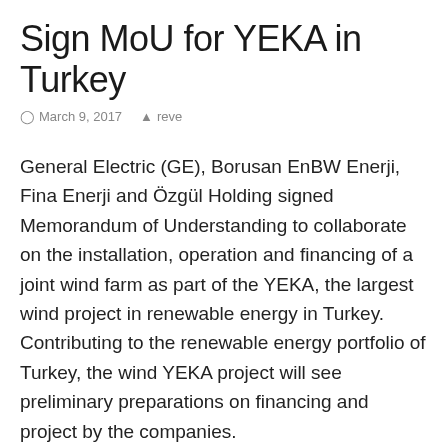Sign MoU for YEKA in Turkey
March 9, 2017   reve
General Electric (GE), Borusan EnBW Enerji, Fina Enerji and Özgül Holding signed Memorandum of Understanding to collaborate on the installation, operation and financing of a joint wind farm as part of the YEKA, the largest wind project in renewable energy in Turkey. Contributing to the renewable energy portfolio of Turkey, the wind YEKA project will see preliminary preparations on financing and project by the companies.